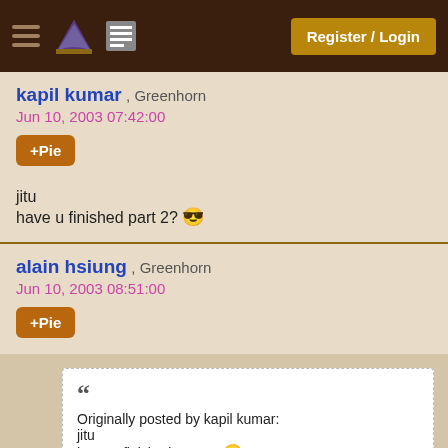Register / Login
kapil kumar , Greenhorn
Jun 10, 2003 07:42:00
+Pie
jitu
have u finished part 2? 😎
alain hsiung , Greenhorn
Jun 10, 2003 08:51:00
+Pie
““
Originally posted by kapil kumar:
jitu
have u finished part 2? 😎
reply